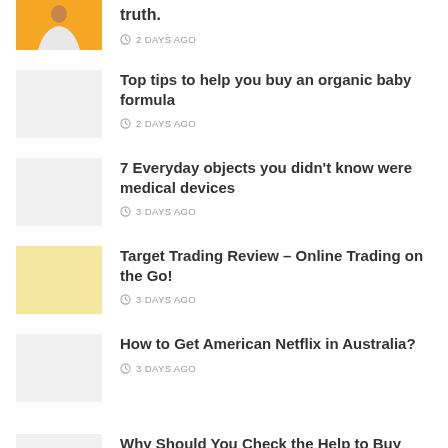truth. — 2 DAYS AGO
Top tips to help you buy an organic baby formula — 2 DAYS AGO
7 Everyday objects you didn't know were medical devices — 3 DAYS AGO
Target Trading Review – Online Trading on the Go! — 3 DAYS AGO
How to Get American Netflix in Australia? — 3 DAYS AGO
Why Should You Check the Help to Buy Mortgage with the Assistance of a Broker?